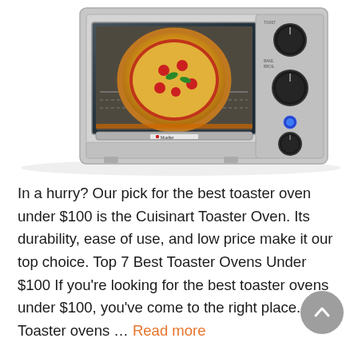[Figure (photo): A stainless steel Mueller toaster oven with a pizza inside, viewed from the front. The oven has three black control knobs on the right side and a glass door.]
In a hurry? Our pick for the best toaster oven under $100 is the Cuisinart Toaster Oven. Its durability, ease of use, and low price make it our top choice. Top 7 Best Toaster Ovens Under $100 If you're looking for the best toaster ovens under $100, you've come to the right place. Toaster ovens … Read more